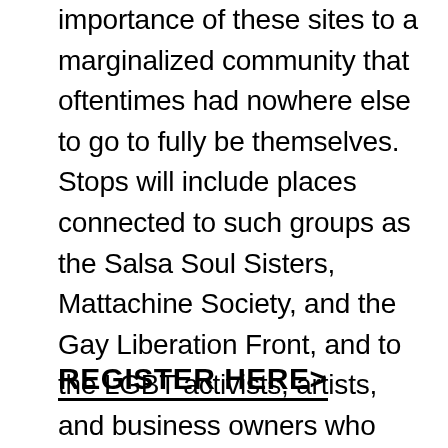importance of these sites to a marginalized community that oftentimes had nowhere else to go to fully be themselves. Stops will include places connected to such groups as the Salsa Soul Sisters, Mattachine Society, and the Gay Liberation Front, and to the LGBT activists, artists, and business owners who found refuge in the Village since the late 19th century.
REGISTER HERE>